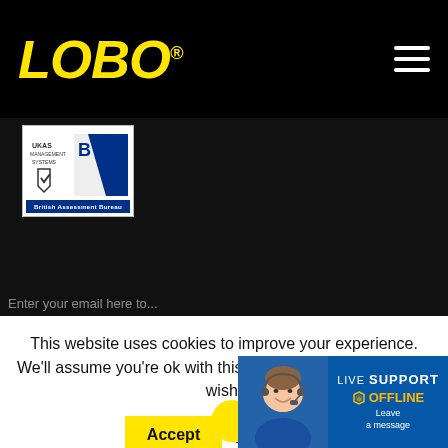LOBO®
[Figure (logo): LOBO logo in yellow italic text on black background with hamburger menu icon]
[Figure (logo): British Assessment Bureau badge with UKAS accreditation logo]
This website uses cookies to improve your experience. We'll assume you're ok with this, but you can opt-out if you wish.
[Figure (screenshot): Live Support OFFLINE - Leave a message widget with smiling person photo]